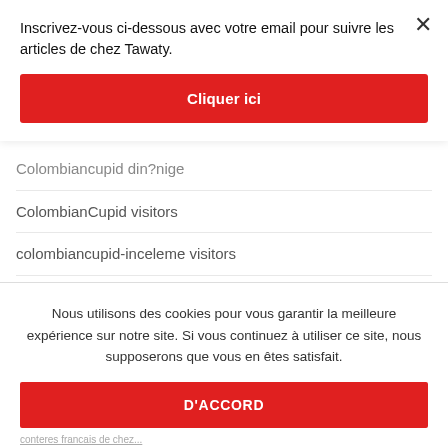Inscrivez-vous ci-dessous avec votre email pour suivre les articles de chez Tawaty.
Cliquer ici
Colombiancupid din?nige
ColombianCupid visitors
colombiancupid-inceleme visitors
colorado review
Colorado Springs+CO+Colorado site
Nous utilisons des cookies pour vous garantir la meilleure expérience sur notre site. Si vous continuez à utiliser ce site, nous supposerons que vous en êtes satisfait.
D'ACCORD